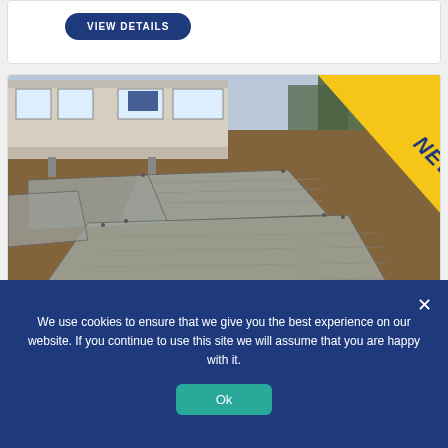[Figure (screenshot): View Details button on a product card with dark navy blue rounded rectangle button]
[Figure (photo): Photo of a 2022 Atlas Festival mobile home on a dirt site with steel access panels on the ground and a yellow NEW badge in the top-right corner]
2022 Atlas Festival
We use cookies to ensure that we give you the best experience on our website. If you continue to use this site we will assume that you are happy with it.